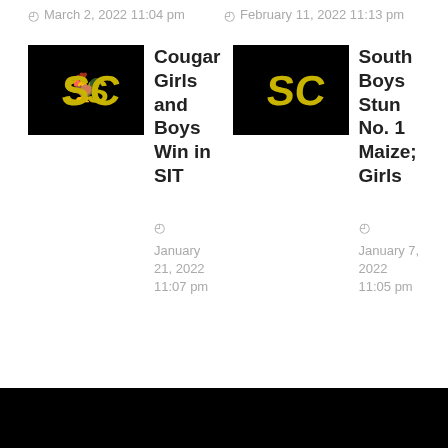March 2, 2022 11:04 pm
February 11, 2022 11:13 pm
Cougar Girls and Boys Win in SIT
January 21, 2022 11:07 pm
South Boys Stun No. 1 Maize; Girls
January 7, 2022 11:05 pm